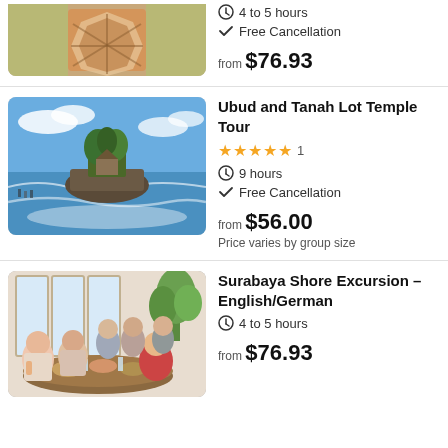[Figure (photo): Aerial view of ornate temple or garden structure with geometric pattern, partial view at top of page]
4 to 5 hours
Free Cancellation
from $76.93
[Figure (photo): Tanah Lot temple on a rocky island surrounded by ocean waves, Bali, Indonesia]
Ubud and Tanah Lot Temple Tour
★★★★★ 1
9 hours
Free Cancellation
from $56.00
Price varies by group size
[Figure (photo): Group of tourists dining together at a round table with food, indoor setting with large windows and plants]
Surabaya Shore Excursion - English/German
4 to 5 hours
from $76.93